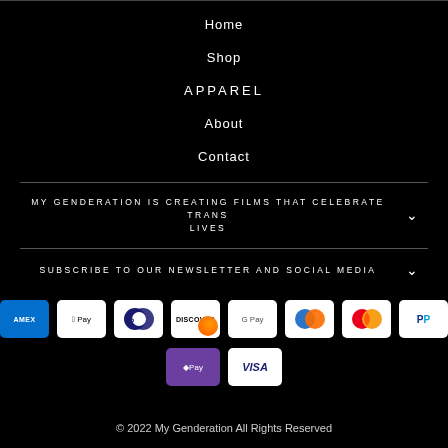Home
Shop
APPAREL
About
Contact
MY GENDERATION IS CREATING FILMS THAT CELEBRATE TRANS LIVES
SUBSCRIBE TO OUR NEWSLETTER AND SOCIAL MEDIA
[Figure (other): Payment method logos: AMEX, Apple Pay, Diners Club, Discover, Google Pay, Mastercard (blue/orange circles), Mastercard (red/orange), PayPal, Apple Pay/D Pay, VISA]
© 2022 My Genderation All Rights Reserved